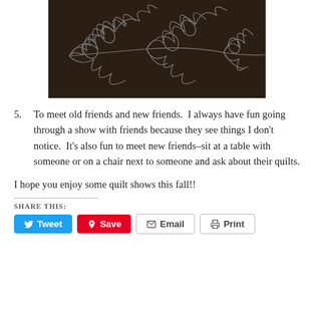[Figure (photo): Dark quilted fabric with intricate white/light floral and leaf free-motion quilting patterns on a dark brown background]
5. To meet old friends and new friends.  I always have fun going through a show with friends because they see things I don't notice.  It's also fun to meet new friends–sit at a table with someone or on a chair next to someone and ask about their quilts.
I hope you enjoy some quilt shows this fall!!
SHARE THIS:
Tweet  Save  Email  Print